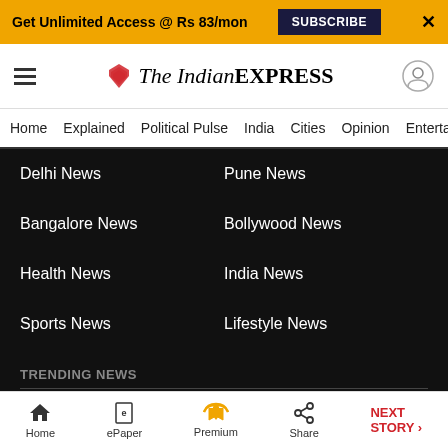Get Unlimited Access @ Rs 83/mon  SUBSCRIBE  X
[Figure (logo): The Indian Express logo with hamburger menu and user icon]
Home  Explained  Political Pulse  India  Cities  Opinion  Entertainment
Delhi News
Pune News
Bangalore News
Bollywood News
Health News
India News
Sports News
Lifestyle News
TRENDING NEWS
Horoscope
India News
Art & Craft Classes For Kids
Fitness Classes For Kids
Home  ePaper  Premium  Share  NEXT STORY →